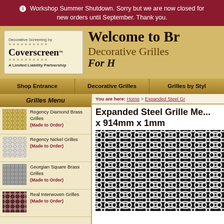Workshop Summer Shutdown. Sorry but we are now closed for new orders until September. Thank you.
[Figure (logo): Coverscreen logo - Decorative Screening by Coverscreen TM, A Limited Liability Partnership]
Welcome to Br... Decorative Grilles... For H...
Shop Entrance | Decorative Grilles | Grilles by Style
You are here: Home > Expanded Steel Gr...
Grilles Menu
Regency Diamond Brass Grilles (Made to Order)
Regency Nickel Grilles (Made to Order)
Georgian Square Brass Grilles (Made to Order)
Real Interwoven Grilles (Made to Order)
Expanded Steel Grille Me... x 914mm x 1mm
[Figure (photo): Close-up photo of expanded steel grille mesh with diamond-shaped openings on a dark background]